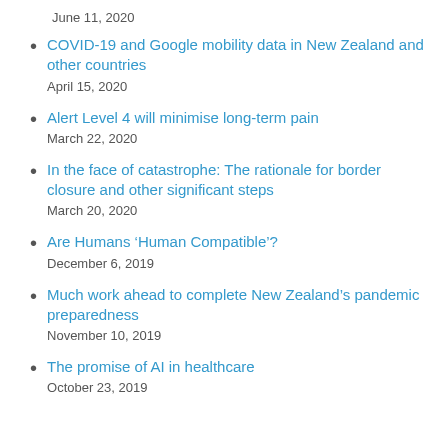June 11, 2020
COVID-19 and Google mobility data in New Zealand and other countries
April 15, 2020
Alert Level 4 will minimise long-term pain
March 22, 2020
In the face of catastrophe: The rationale for border closure and other significant steps
March 20, 2020
Are Humans ‘Human Compatible’?
December 6, 2019
Much work ahead to complete New Zealand’s pandemic preparedness
November 10, 2019
The promise of AI in healthcare
October 23, 2019